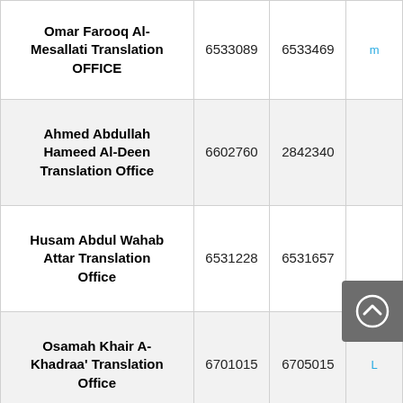| Name | Phone 1 | Phone 2 | Link |
| --- | --- | --- | --- |
| Omar Farooq Al-Mesallati Translation OFFICE | 6533089 | 6533469 | m... |
| Ahmed Abdullah Hameed Al-Deen Translation Office | 6602760 | 2842340 |  |
| Husam Abdul Wahab Attar Translation Office | 6531228 | 6531657 |  |
| Osamah Khair A-Khadraa' Translation Office | 6701015 | 6705015 | L... |
| Saleh Muhammad Al-... | 6873460 |  |  |